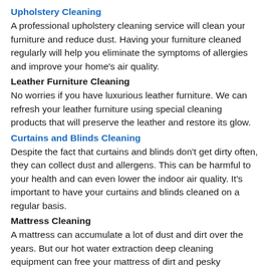Upholstery Cleaning
A professional upholstery cleaning service will clean your furniture and reduce dust. Having your furniture cleaned regularly will help you eliminate the symptoms of allergies and improve your home's air quality.
Leather Furniture Cleaning
No worries if you have luxurious leather furniture. We can refresh your leather furniture using special cleaning products that will preserve the leather and restore its glow.
Curtains and Blinds Cleaning
Despite the fact that curtains and blinds don't get dirty often, they can collect dust and allergens. This can be harmful to your health and can even lower the indoor air quality. It's important to have your curtains and blinds cleaned on a regular basis.
Mattress Cleaning
A mattress can accumulate a lot of dust and dirt over the years. But our hot water extraction deep cleaning equipment can free your mattress of dirt and pesky